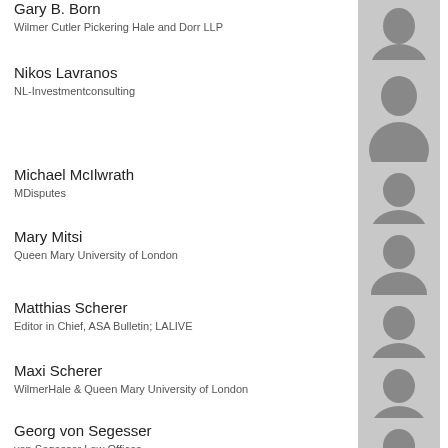Gary B. Born
Wilmer Cutler Pickering Hale and Dorr LLP
[Figure (photo): Headshot of Gary B. Born, black and white professional photo]
Nikos Lavranos
NL-Investmentconsulting
[Figure (photo): Headshot of Nikos Lavranos, black and white professional photo]
Michael McIlwrath
MDisputes
[Figure (photo): Headshot of Michael McIlwrath, black and white professional photo]
Mary Mitsi
Queen Mary University of London
[Figure (photo): Headshot of Mary Mitsi, black and white professional photo]
Matthias Scherer
Editor in Chief, ASA Bulletin; LALIVE
[Figure (photo): Headshot of Matthias Scherer, black and white professional photo]
Maxi Scherer
WilmerHale & Queen Mary University of London
[Figure (photo): Headshot of Maxi Scherer, black and white professional photo]
Georg von Segesser
von Segesser Law Offices
[Figure (photo): Headshot of Georg von Segesser, black and white professional photo]